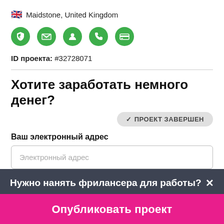🇬🇧 Maidstone, United Kingdom
[Figure (infographic): Five green circular icons: dollar/shield, envelope, person, phone, credit card]
ID проекта: #32728071
Хотите заработать немного денег?
✓ ПРОЕКТ ЗАВЕРШЕН
Ваш электронный адрес
Электронный адрес
Нужно нанять фрилансера для работы?✕
Опубликовать проект